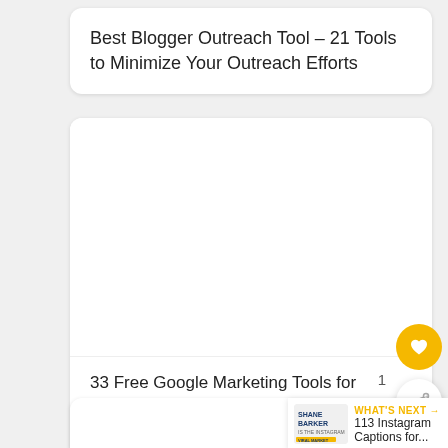Best Blogger Outreach Tool – 21 Tools to Minimize Your Outreach Efforts
[Figure (other): White card with blank image area]
33 Free Google Marketing Tools for Marketers and Developers
WHAT'S NEXT → 113 Instagram Captions for...